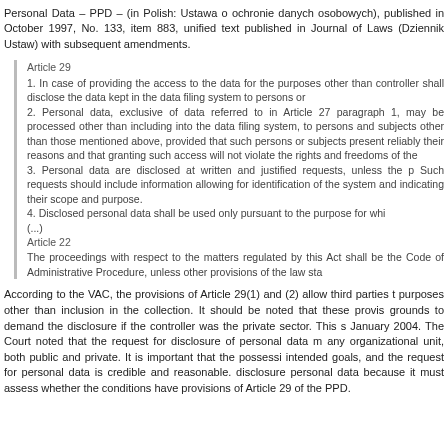Personal Data – PPD – (in Polish: Ustawa o ochronie danych osobowych), published in October 1997, No. 133, item 883, unified text published in Journal of Laws (Dziennik Ustaw) with subsequent amendments.
Article 29
1. In case of providing the access to the data for the purposes other than controller shall disclose the data kept in the data filing system to persons or
2. Personal data, exclusive of data referred to in Article 27 paragraph 1, may be processed other than including into the data filing system, to persons and subjects other than those mentioned above, provided that such persons or subjects present reliably their reasons for requesting the data and that granting such access will not violate the rights and freedoms of the data subjects.
3. Personal data are disclosed at written and justified requests, unless the provisions provide otherwise. Such requests should include information allowing for identification of the person in the filing system and indicating their scope and purpose.
4. Disclosed personal data shall be used only pursuant to the purpose for which they were disclosed.
(...)
Article 22
The proceedings with respect to the matters regulated by this Act shall be governed by the Code of Administrative Procedure, unless other provisions of the law state otherwise.
According to the VAC, the provisions of Article 29(1) and (2) allow third parties to access data for purposes other than inclusion in the collection. It should be noted that these provisions create grounds to demand the disclosure if the controller was the private sector. This statement dated January 2004. The Court noted that the request for disclosure of personal data may be addressed to any organizational unit, both public and private. It is important that the possessor pursues specific intended goals, and the request for personal data is credible and reasonable. The controller may refuse disclosure personal data because it must assess whether the conditions have been met under the provisions of Article 29 of the PPD.